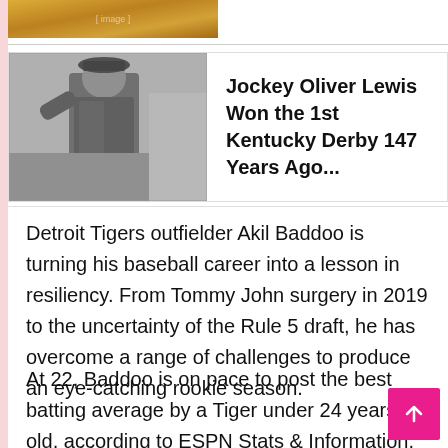[Figure (photo): Partial view of a sports/action photo at the top of the page, cropped]
[Figure (photo): Black and white historical photo of Jockey Oliver Lewis]
Jockey Oliver Lewis Won the 1st Kentucky Derby 147 Years Ago...
Detroit Tigers outfielder Akil Baddoo is turning his baseball career into a lesson in resiliency. From Tommy John surgery in 2019 to the uncertainty of the Rule 5 draft, he has overcome a range of challenges to produce an eye-catching rookie season.
At 22, Baddoo is on pace to post the best batting average by a Tiger under 24 years old, according to ESPN Stats & Information. He's second among American League rookies with at least 200 plate appearances in batting average (.271), on-base percentage (.346) and stolen bases (14).